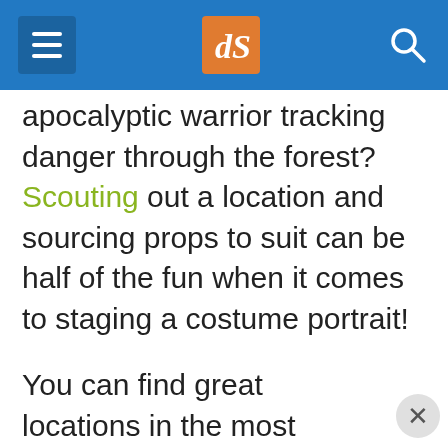dPS navigation header with hamburger menu, logo, and search icon
apocalyptic warrior tracking danger through the forest? Scouting out a location and sourcing props to suit can be half of the fun when it comes to staging a costume portrait!
You can find great locations in the most